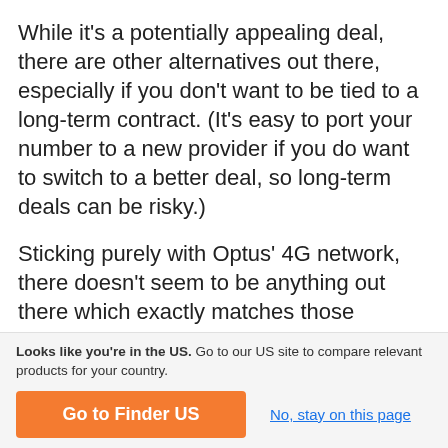While it's a potentially appealing deal, there are other alternatives out there, especially if you don't want to be tied to a long-term contract. (It's easy to port your number to a new provider if you do want to switch to a better deal, so long-term deals can be risky.)
Sticking purely with Optus' 4G network, there doesn't seem to be anything out there which exactly matches those features, but there are some that come close. amaysim's $39.90 UNLIMITED 7GB plan has less data (7GB), but includes unlimited calls to its top 10 countries. Vaya's Unlimited XL also has 7GB of data and is cheaper at $34, but has no global call inclusions.
Looks like you're in the US. Go to our US site to compare relevant products for your country.
Go to Finder US | No, stay on this page